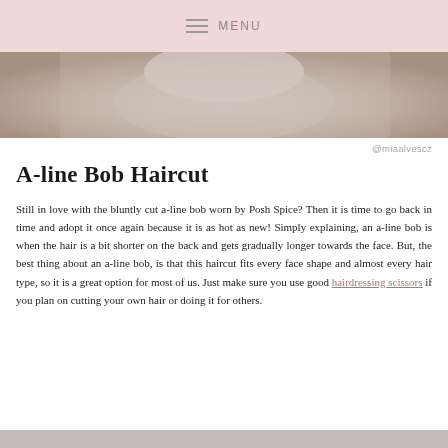MENU
[Figure (photo): Close-up photo of a person with a bob haircut, wearing white clothing, photo cropped showing mostly hair and shoulder area]
@miaalvescz
A-line Bob Haircut
Still in love with the bluntly cut a-line bob worn by Posh Spice? Then it is time to go back in time and adopt it once again because it is as hot as new! Simply explaining, an a-line bob is when the hair is a bit shorter on the back and gets gradually longer towards the face. But, the best thing about an a-line bob, is that this haircut fits every face shape and almost every hair type, so it is a great option for most of us. Just make sure you use good hairdressing scissors if you plan on cutting your own hair or doing it for others.